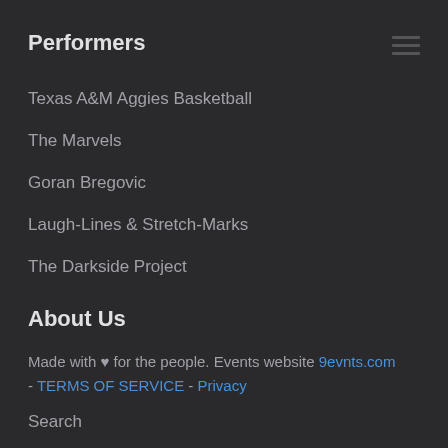Performers
Texas A&M Aggies Basketball
The Marvels
Goran Bregovic
Laugh-Lines & Stretch-Marks
The Darkside Project
About Us
Made with ♥ for the people. Events website 9evnts.com - TERMS OF SERVICE - Privacy
Search